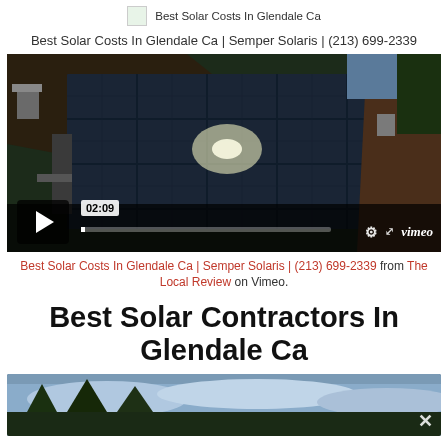Best Solar Costs In Glendale Ca
Best Solar Costs In Glendale Ca | Semper Solaris | (213) 699-2339
[Figure (screenshot): Vimeo video player showing solar panels on a rooftop. Video is paused. Time shown: 02:09. Play button visible in lower left. Vimeo logo and settings in lower right.]
Best Solar Costs In Glendale Ca | Semper Solaris | (213) 699-2339 from The Local Review on Vimeo.
Best Solar Contractors In Glendale Ca
[Figure (screenshot): Bottom video thumbnail showing trees against a cloudy sky. X/close button visible in lower right corner.]